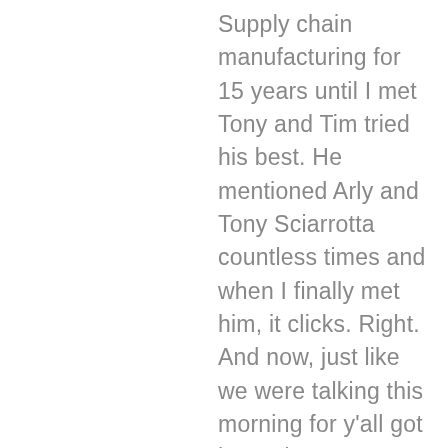Supply chain manufacturing for 15 years until I met Tony and Tim tried his best. He mentioned Arly and Tony Sciarrotta countless times and when I finally met him, it clicks. Right. And now, just like we were talking this morning for y'all got here about recycling and how that factors in reverse Logistics because so much you think you put everything in this container and put it down by the curb and you like to think it's 100 percent gonna be recycled. But we all know sat around this table, that is not the case. So how can we impact upstream some of these